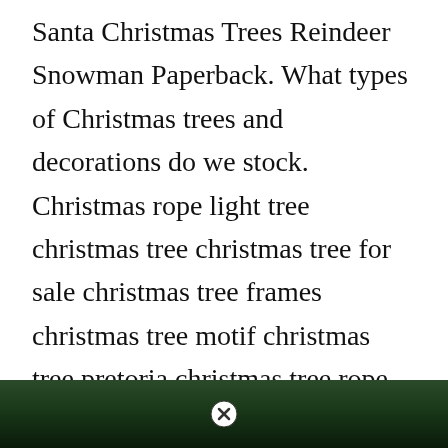Santa Christmas Trees Reindeer Snowman Paperback. What types of Christmas trees and decorations do we stock. Christmas rope light tree christmas tree christmas tree for sale christmas tree frames christmas tree motif christmas tree pretoria christmas tree rope light. From small artificial Christmas trees 55ft to larger trees garlands wreaths and sprays we have got every type of Christmas tree and.
[Figure (photo): Dark photograph showing what appears to be Christmas tree foliage, with a close button (circled X) overlaid in the center top area of the image strip.]